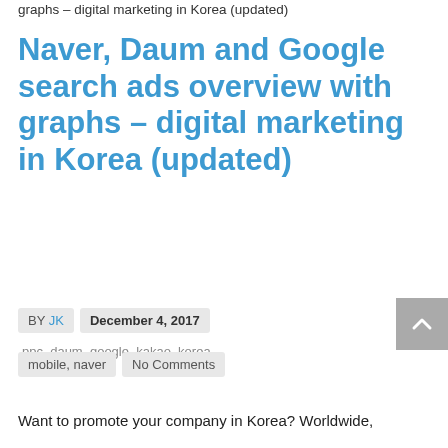graphs – digital marketing in Korea (updated)
Naver, Daum and Google search ads overview with graphs – digital marketing in Korea (updated)
BY JK   December 4, 2017   ppc, daum, google, kakao, korea,
mobile, naver   No Comments
Want to promote your company in Korea? Worldwide,